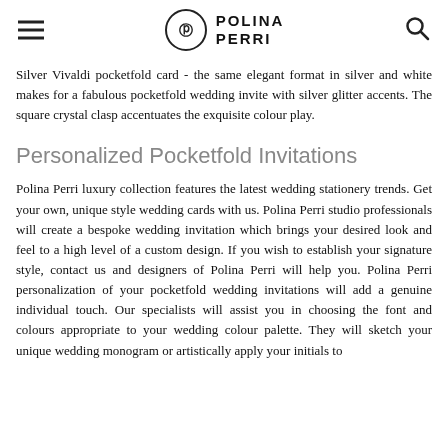POLINA PERRI
Silver Vivaldi pocketfold card - the same elegant format in silver and white makes for a fabulous pocketfold wedding invite with silver glitter accents. The square crystal clasp accentuates the exquisite colour play.
Personalized Pocketfold Invitations
Polina Perri luxury collection features the latest wedding stationery trends. Get your own, unique style wedding cards with us. Polina Perri studio professionals will create a bespoke wedding invitation which brings your desired look and feel to a high level of a custom design. If you wish to establish your signature style, contact us and designers of Polina Perri will help you. Polina Perri personalization of your pocketfold wedding invitations will add a genuine individual touch. Our specialists will assist you in choosing the font and colours appropriate to your wedding colour palette. They will sketch your unique wedding monogram or artistically apply your initials to